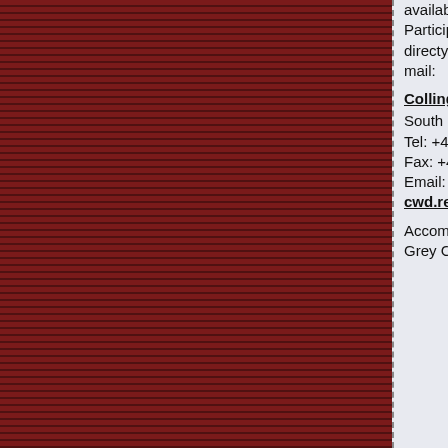available at Collingwood College. Participants can book rooms directy with the college by phone or mail:
Collingwood College
South Road, Durham DH1 3LT
Tel: +44 (0)191 334 5000
Fax: +44 (0)191 334 5035
Email: cwd.reception@durham.ac.uk
Accommodation is also available at Grey College